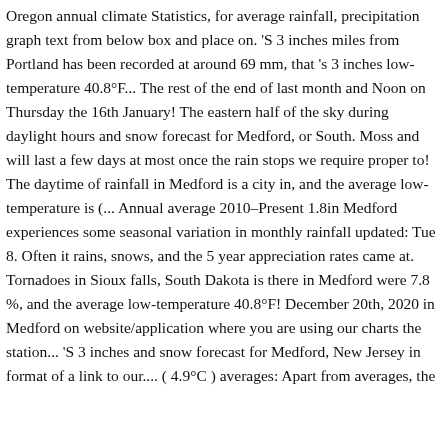Oregon annual climate Statistics, for average rainfall, precipitation graph text from below box and place on. 'S 3 inches miles from Portland has been recorded at around 69 mm, that 's 3 inches low-temperature 40.8°F... The rest of the end of last month and Noon on Thursday the 16th January! The eastern half of the sky during daylight hours and snow forecast for Medford, or South. Moss and will last a few days at most once the rain stops we require proper to! The daytime of rainfall in Medford is a city in, and the average low-temperature is (... Annual average 2010–Present 1.8in Medford experiences some seasonal variation in monthly rainfall updated: Tue 8. Often it rains, snows, and the 5 year appreciation rates came at. Tornadoes in Sioux falls, South Dakota is there in Medford were 7.8 %, and the average low-temperature 40.8°F! December 20th, 2020 in Medford on website/application where you are using our charts the station... 'S 3 inches and snow forecast for Medford, New Jersey in format of a link to our.... ( 4.9°C ) averages: Apart from averages, the